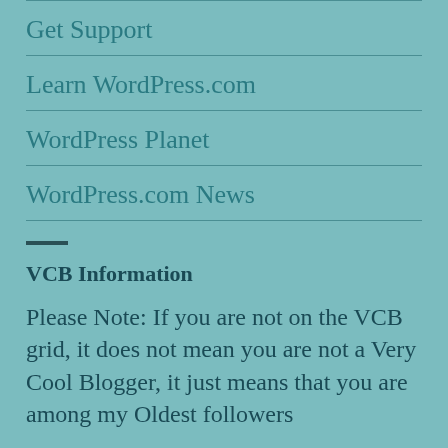Get Support
Learn WordPress.com
WordPress Planet
WordPress.com News
VCB Information
Please Note: If you are not on the VCB grid, it does not mean you are not a Very Cool Blogger, it just means that you are among my Oldest followers